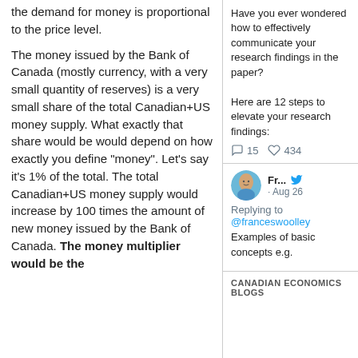the demand for money is proportional to the price level.
The money issued by the Bank of Canada (mostly currency, with a very small quantity of reserves) is a very small share of the total Canadian+US money supply. What exactly that share would be would depend on how exactly you define "money". Let's say it's 1% of the total. The total Canadian+US money supply would increase by 100 times the amount of new money issued by the Bank of Canada. The money multiplier would be the
[Figure (screenshot): Twitter/social media card with tweet text: 'Have you ever wondered how to effectively communicate your research findings in the paper? Here are 12 steps to elevate your research findings:' with 15 comments and 434 likes.]
[Figure (screenshot): Twitter reply card from user 'Fr...' dated Aug 26, replying to @franceswoolley: 'Examples of basic concepts e.g.']
CANADIAN ECONOMICS BLOGS